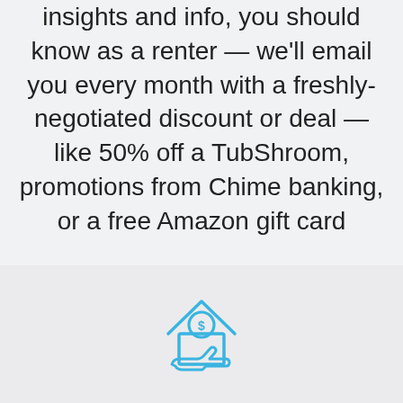insights and info, you should know as a renter — we'll email you every month with a freshly-negotiated discount or deal — like 50% off a TubShroom, promotions from Chime banking, or a free Amazon gift card
[Figure (illustration): Line art icon of a house with a dollar sign coin held in an open hand, in blue outline style]
Get $5/mo rent insurance
Get started
You are in good hands